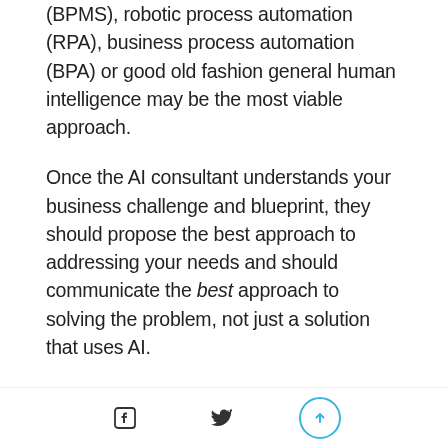solutions such as business process management (BPMS), robotic process automation (RPA), business process automation (BPA) or good old fashion general human intelligence may be the most viable approach.
Once the AI consultant understands your business challenge and blueprint, they should propose the best approach to addressing your needs and should communicate the best approach to solving the problem, not just a solution that uses AI.
Be transparent about the limitations and risk of adopting AI
When undertaking an AI project its important to be
social share and scroll icons